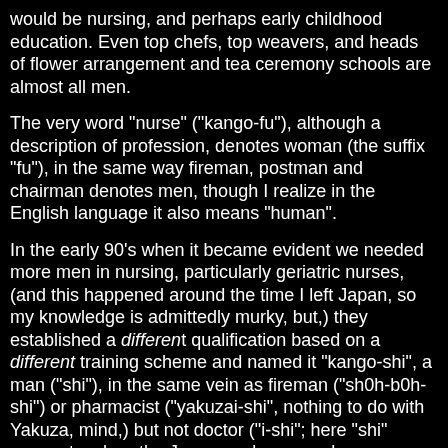would be nursing, and perhaps early childhood education. Even top chefs, top weavers, and heads of flower arrangement and tea ceremony schools are almost all men.
The very word "nurse" ("kango-fu"), although a description of profession, denotes woman (the suffix "fu"), in the same way fireman, postman and chairman denotes men, though I realize in the English language it also means "human".
In the early 90's when it became evident we needed more men in nursing, particularly geriatric nurses, (and this happened around the time I left Japan, so my knowledge is admittedly murky, but,) they established a different qualification based on a different training scheme and named it "kango-shi", a man ("shi"), in the same vein as fireman ("sh0h-b0h-shi") or pharmacist ("yakuzai-shi", nothing to do with Yakuza, mind,) but not doctor ("i-shi"; here "shi" means teacher; the Japanese language has homophones by the truck loads.)
In the language's defense, we also have many, many gender neutral professions, driver ("unten-shu", hand, ) MC ("shikai-